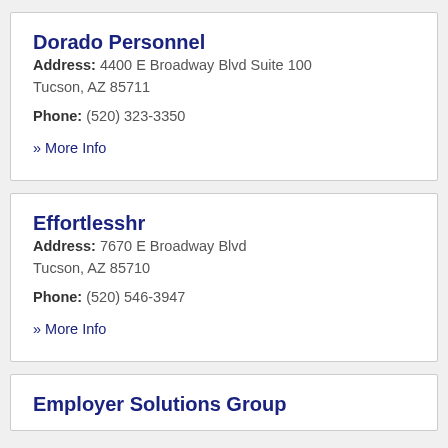Dorado Personnel
Address: 4400 E Broadway Blvd Suite 100 Tucson, AZ 85711
Phone: (520) 323-3350
» More Info
Effortlesshr
Address: 7670 E Broadway Blvd Tucson, AZ 85710
Phone: (520) 546-3947
» More Info
Employer Solutions Group